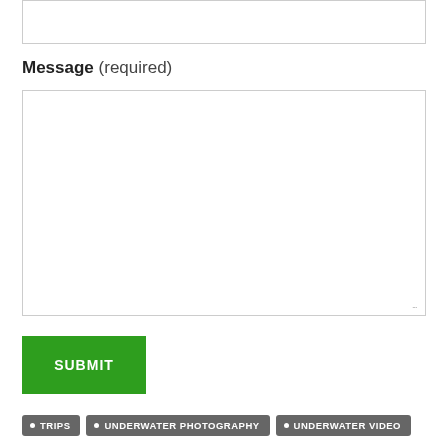[Figure (screenshot): Empty text input field at top of page]
Message (required)
[Figure (screenshot): Large empty textarea for message input with resize handle]
[Figure (screenshot): Green SUBMIT button]
• TRIPS
• UNDERWATER PHOTOGRAPHY
• UNDERWATER VIDEO